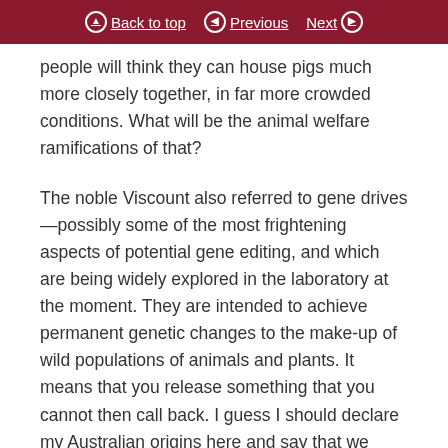Back to top | Previous | Next
people will think they can house pigs much more closely together, in far more crowded conditions. What will be the animal welfare ramifications of that?
The noble Viscount also referred to gene drives—possibly some of the most frightening aspects of potential gene editing, and which are being widely explored in the laboratory at the moment. They are intended to achieve permanent genetic changes to the make-up of wild populations of animals and plants. It means that you release something that you cannot then call back. I guess I should declare my Australian origins here and say that we have very close and intimate understanding of what the release of the cane toad did and continues to do to